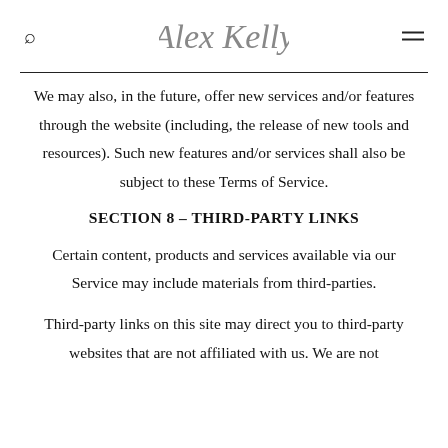Alex Kelly
We may also, in the future, offer new services and/or features through the website (including, the release of new tools and resources). Such new features and/or services shall also be subject to these Terms of Service.
SECTION 8 – THIRD-PARTY LINKS
Certain content, products and services available via our Service may include materials from third-parties.
Third-party links on this site may direct you to third-party websites that are not affiliated with us. We are not